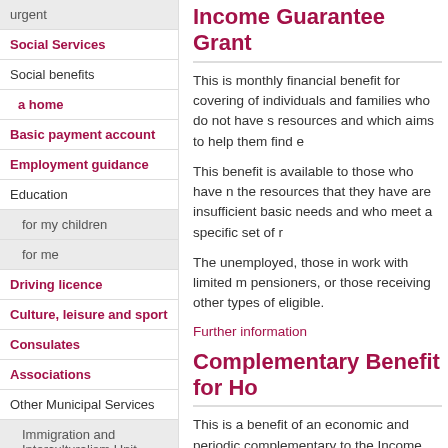urgent
Social Services
Social benefits
a home
Basic payment account
Employment guidance
Education
for my children
for me
Driving licence
Culture, leisure and sport
Consulates
Associations
Other Municipal Services
Immigration and Interculturalism Unit
Income Guarantee Grant
This is monthly financial benefit for covering of individuals and families who do not have s resources and which aims to help them find e
This benefit is available to those who have n the resources that they have are insufficient basic needs and who meet a specific set of r
The unemployed, those in work with limited m pensioners, or those receiving other types of eligible.
Further information
Complementary Benefit for Ho
This is a benefit of an economic and periodic complementary to the Income Guarantee Gra cover the rental costs of housing or fixed abo